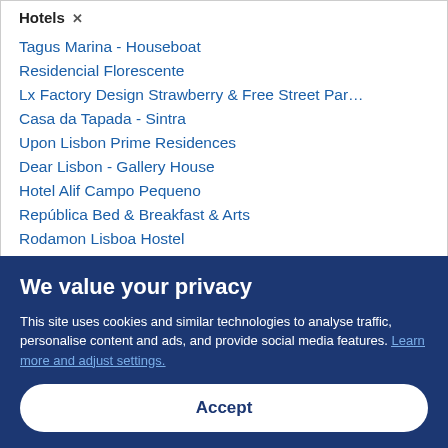Hotels ✕
Tagus Marina - Houseboat
Residencial Florescente
Lx Factory Design Strawberry & Free Street Par…
Casa da Tapada - Sintra
Upon Lisbon Prime Residences
Dear Lisbon - Gallery House
Hotel Alif Campo Pequeno
República Bed & Breakfast & Arts
Rodamon Lisboa Hostel
Turim Boulevard Hotel
We value your privacy
This site uses cookies and similar technologies to analyse traffic, personalise content and ads, and provide social media features. Learn more and adjust settings.
Accept